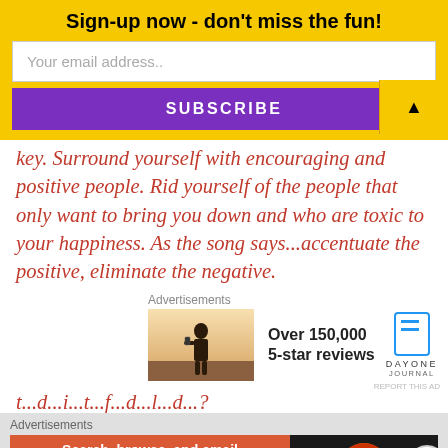Sign-up now - don't miss the fun!
Your email address..
SUBSCRIBE
key.  Surround yourself with encouraging and positive people.  Rid yourself of the people that only want to bring you down and who are toxic to your happiness.  As the song says...accentuate the positive, eliminate the negative.
Advertisements
[Figure (photo): Person photographing a sunset, ad for Day One Journal - Over 150,000 5-star reviews]
Advertisements
[Figure (infographic): DuckDuckGo ad: Search, browse, and email with more privacy. All in One Free App]